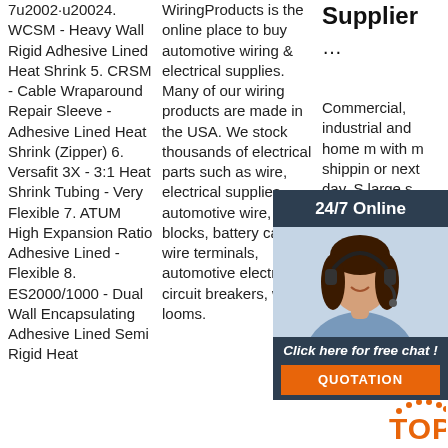7u2002·u20024. WCSM - Heavy Wall Rigid Adhesive Lined Heat Shrink 5. CRSM - Cable Wraparound Repair Sleeve - Adhesive Lined Heat Shrink (Zipper) 6. Versafit 3X - 3:1 Heat Shrink Tubing - Very Flexible 7. ATUM High Expansion Ratio Adhesive Lined - Flexible 8. ES2000/1000 - Dual Wall Encapsulating Adhesive Lined Semi Rigid Heat
WiringProducts is the online place to buy automotive wiring & electrical supplies. Many of our wiring products are made in the USA. We stock thousands of electrical parts such as wire, electrical supplies, automotive wire, fuse blocks, battery cable, wire terminals, automotive electrical, circuit breakers, wire looms.
Supplier
...
Commercial, industrial and home r with m shippin or next day. S large s metal a screws most a busine projec stock fastener selection includes most grades of nuts, bolts, screws, washers and assortments. Minimum orders
[Figure (infographic): Chat widget overlay with woman wearing headset, '24/7 Online' header, 'Click here for free chat!' text, and orange QUOTATION button]
[Figure (infographic): Orange TOP button with orange dots above it in arc pattern]